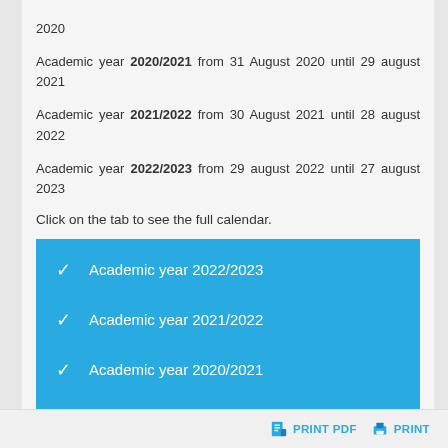2020
Academic year 2020/2021 from 31 August 2020 until 29 august 2021
Academic year 2021/2022 from 30 August 2021 until 28 august 2022
Academic year 2022/2023 from 29 august 2022 until 27 august 2023
Click on the tab to see the full calendar.
Academic year 2022/2023
Academic year 2021/2022
Academic year 2020/2021
Academic year 2019/2020
PRINT PDF   PRINT